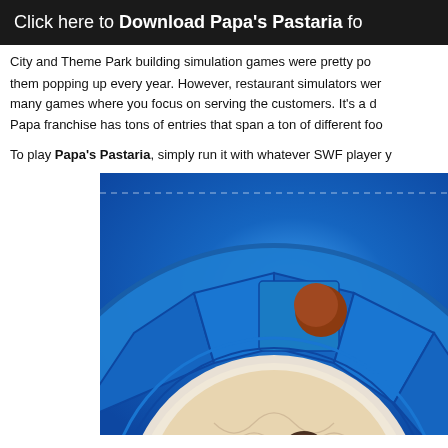Click here to Download Papa's Pastaria fo
City and Theme Park building simulation games were pretty po them popping up every year. However, restaurant simulators wer many games where you focus on serving the customers. It's a d Papa franchise has tons of entries that span a ton of different foo
To play Papa's Pastaria, simply run it with whatever SWF player y
[Figure (screenshot): Screenshot of Papa's Pastaria game showing a circular wheel/menu interface with blue background, a plate of pasta with mushrooms in the center, and food ingredient tiles around the wheel. A meatball ingredient tile is visible at the top and mushroom tile at bottom left.]